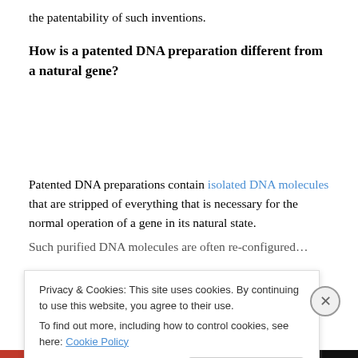the patentability of such inventions.
How is a patented DNA preparation different from a natural gene?
Patented DNA preparations contain isolated DNA molecules that are stripped of everything that is necessary for the normal operation of a gene in its natural state.
Such purified DNA molecules are often re-configured…
Privacy & Cookies: This site uses cookies. By continuing to use this website, you agree to their use.
To find out more, including how to control cookies, see here: Cookie Policy